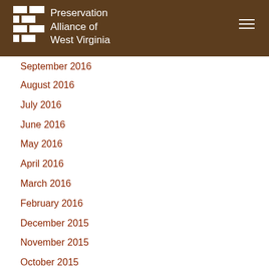Preservation Alliance of West Virginia
September 2016
August 2016
July 2016
June 2016
May 2016
April 2016
March 2016
February 2016
December 2015
November 2015
October 2015
September 2015
August 2015
July 2015
June 2015